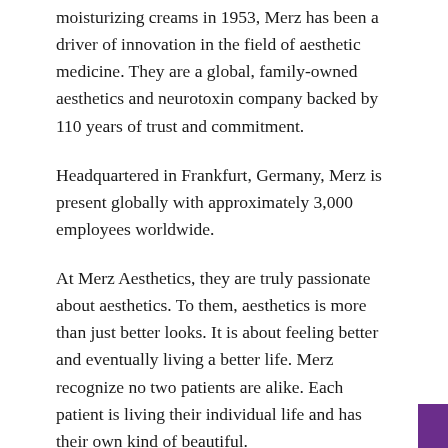moisturizing creams in 1953, Merz has been a driver of innovation in the field of aesthetic medicine. They are a global, family-owned aesthetics and neurotoxin company backed by 110 years of trust and commitment.
Headquartered in Frankfurt, Germany, Merz is present globally with approximately 3,000 employees worldwide.
At Merz Aesthetics, they are truly passionate about aesthetics. To them, aesthetics is more than just better looks. It is about feeling better and eventually living a better life. Merz recognize no two patients are alike. Each patient is living their individual life and has their own kind of beautiful.
Building on more than a century of healthcare